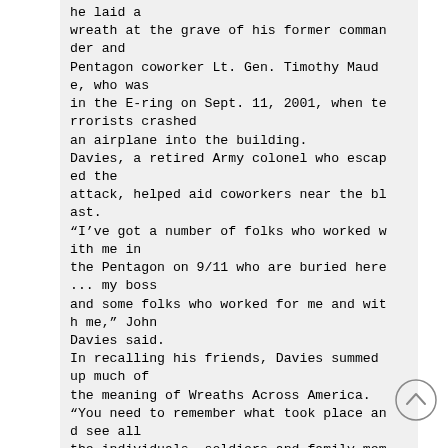he laid a wreath at the grave of his former commander and Pentagon coworker Lt. Gen. Timothy Maude, who was in the E-ring on Sept. 11, 2001, when terrorists crashed an airplane into the building. Davies, a retired Army colonel who escaped the attack, helped aid coworkers near the blast. "I've got a number of folks who worked with me in the Pentagon on 9/11 who are buried here ... my boss and some folks who worked for me and with me," John Davies said. In recalling his friends, Davies summed up much of the meaning of Wreaths Across America. "You need to remember what took place and see all the individuals, soldiers and family mem